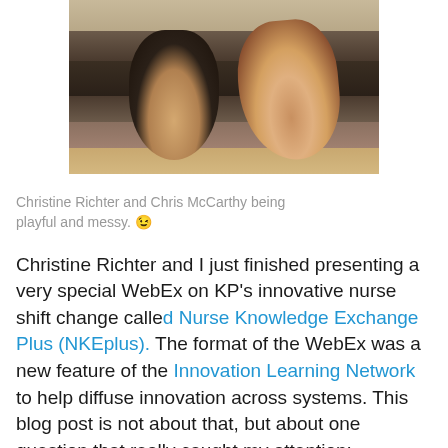[Figure (photo): An upside-down photo of two people — Christine Richter and Chris McCarthy — appearing playful at what looks like a desk or table setting.]
Christine Richter and Chris McCarthy being playful and messy. 😉
Christine Richter and I just finished presenting a very special WebEx on KP's innovative nurse shift change called Nurse Knowledge Exchange Plus (NKEplus). The format of the WebEx was a new feature of the Innovation Learning Network to help diffuse innovation across systems. This blog post is not about that, but about one question that really caught my attention:
"what social skills do we...